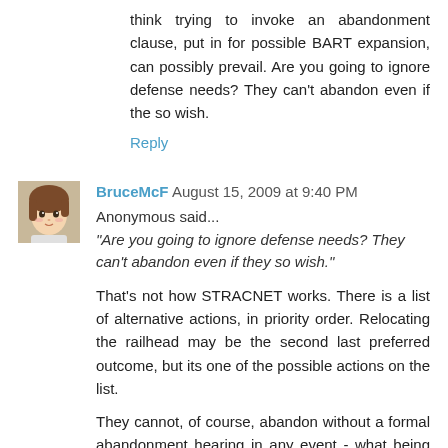think trying to invoke an abandonment clause, put in for possible BART expansion, can possibly prevail. Are you going to ignore defense needs? They can't abandon even if the so wish.
Reply
[Figure (illustration): Small anime-style avatar of a person with brown hair]
BruceMcF  August 15, 2009 at 9:40 PM
Anonymous said...
"Are you going to ignore defense needs? They can't abandon even if they so wish."
That's not how STRACNET works. There is a list of alternative actions, in priority order. Relocating the railhead may be the second last preferred outcome, but its one of the possible actions on the list.
They cannot, of course, abandon without a formal abandonment hearing in any event - what being on STRACNET means is that the military logistics command has standing at the abandonment hearing.